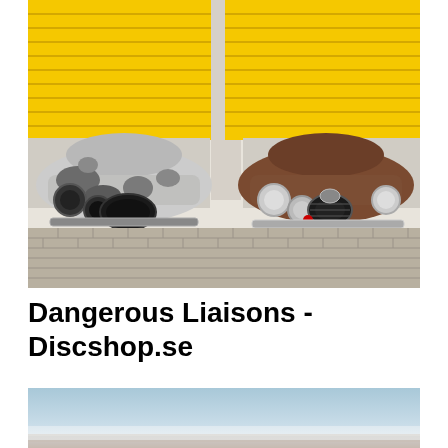[Figure (photo): Two vintage/classic cars parked side by side in front of yellow garage roller shutters on a brick pavement. The left car is white/silver with rust and paint damage, the right car is brown/copper colored. Both appear to be Jaguar Mk2 or similar classic British cars from the 1960s.]
Dangerous Liaisons - Discshop.se
[Figure (photo): Partial view of a sky with light blue and white haze, possibly an outdoor scene with horizon visible at the bottom edge.]